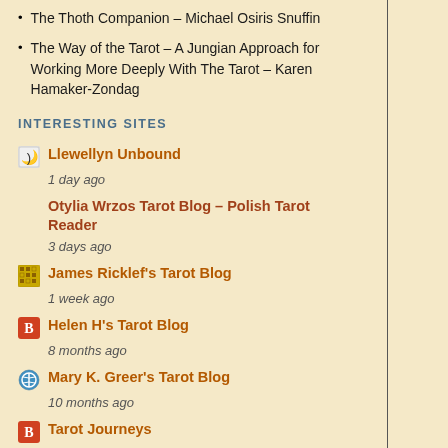The Thoth Companion – Michael Osiris Snuffin
The Way of the Tarot – A Jungian Approach for Working More Deeply With The Tarot – Karen Hamaker-Zondag
INTERESTING SITES
Llewellyn Unbound
1 day ago
Otylia Wrzos Tarot Blog – Polish Tarot Reader
3 days ago
James Ricklef's Tarot Blog
1 week ago
Helen H's Tarot Blog
8 months ago
Mary K. Greer's Tarot Blog
10 months ago
Tarot Journeys
1 year ago
Tarotize